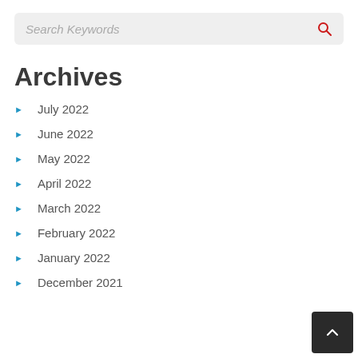Search Keywords
Archives
July 2022
June 2022
May 2022
April 2022
March 2022
February 2022
January 2022
December 2021